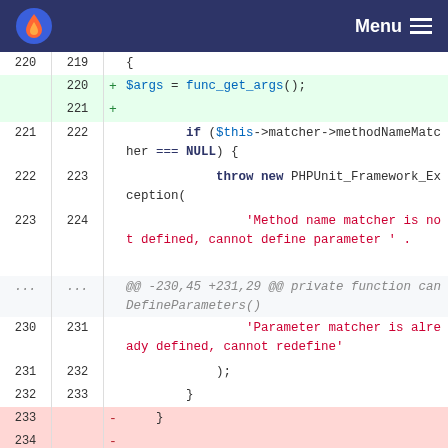Menu
[Figure (screenshot): Code diff view showing PHP code changes with line numbers, added lines (green background) and removed lines (red background). Shows diff for a PHP matcher class method.]